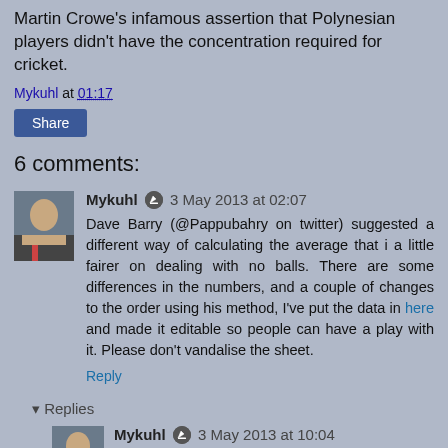Martin Crowe's infamous assertion that Polynesian players didn't have the concentration required for cricket.
Mykuhl at 01:17
Share
6 comments:
Mykuhl 3 May 2013 at 02:07
Dave Barry (@Pappubahry on twitter) suggested a different way of calculating the average that i a little fairer on dealing with no balls. There are some differences in the numbers, and a couple of changes to the order using his method, I've put the data in here and made it editable so people can have a play with it. Please don't vandalise the sheet.
Reply
▾ Replies
Mykuhl 3 May 2013 at 10:04